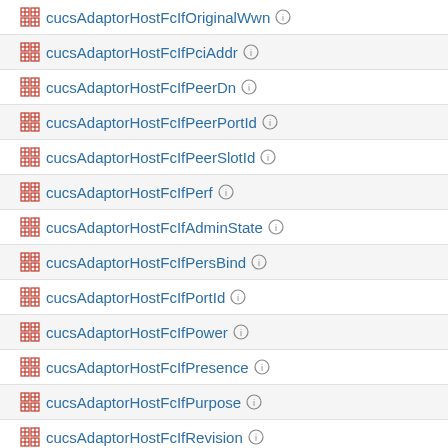cucsAdaptorHostFcIfOriginalWwn
cucsAdaptorHostFcIfPciAddr
cucsAdaptorHostFcIfPeerDn
cucsAdaptorHostFcIfPeerPortId
cucsAdaptorHostFcIfPeerSlotId
cucsAdaptorHostFcIfPerf
cucsAdaptorHostFcIfAdminState
cucsAdaptorHostFcIfPersBind
cucsAdaptorHostFcIfPortId
cucsAdaptorHostFcIfPower
cucsAdaptorHostFcIfPresence
cucsAdaptorHostFcIfPurpose
cucsAdaptorHostFcIfRevision
cucsAdaptorHostFcIfSerial
cucsAdaptorHostFcIfSide
cucsAdaptorHostFcIfSlotId